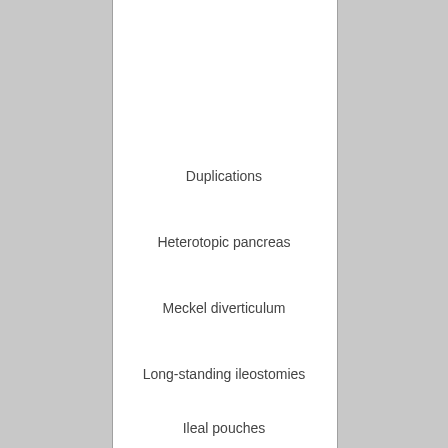Duplications
Heterotopic pancreas
Meckel diverticulum
Long-standing ileostomies
Ileal pouches
Cystic fibrosis
Peptic ulcer disease